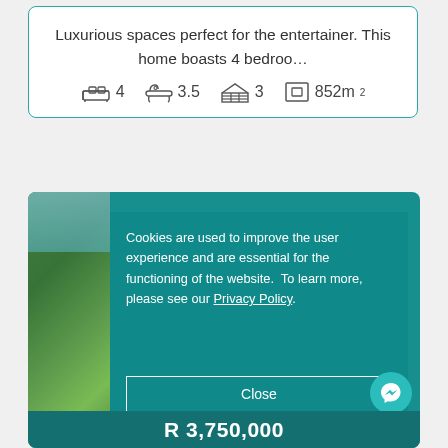Luxurious spaces perfect for the entertainer. This home boasts 4 bedroo…
4   3.5   3   852m²
Cookies are used to improve the user experience and are essential for the functioning of the website.  To learn more, please see our Privacy Policy.
Close
R 3,750,000